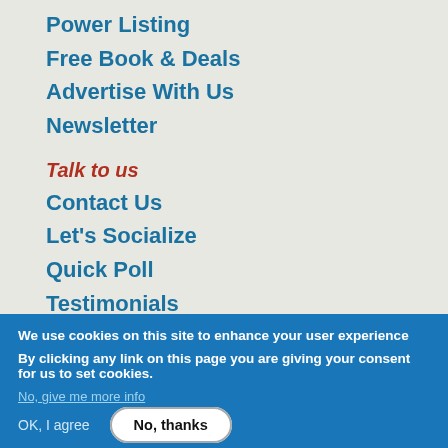Power Listing
Free Book & Deals
Advertise With Us
Newsletter
Talk to us
Contact Us
Let's Socialize
Quick Poll
Testimonials
We use cookies on this site to enhance your user experience
By clicking any link on this page you are giving your consent for us to set cookies.
No, give me more info
OK, I agree
No, thanks